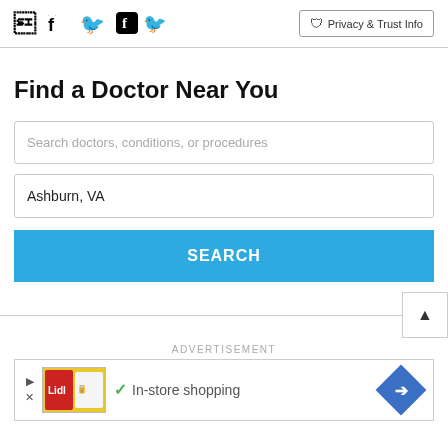Facebook Twitter Privacy & Trust Info
Find a Doctor Near You
Search doctors, conditions, or procedures
Ashburn, VA
SEARCH
ADVERTISEMENT
[Figure (screenshot): Advertisement banner showing Lidl store ad with In-store shopping text and navigation arrow icon]